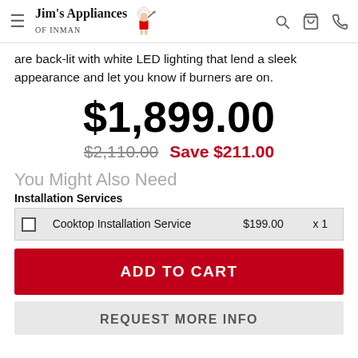Jim's Appliances of Inman
are back-lit with white LED lighting that lend a sleek appearance and let you know if burners are on.
$1,899.00
$2,110.00  Save $211.00
You Might Also Need
Installation Services
|  | Service | Price | Qty |
| --- | --- | --- | --- |
|  | Cooktop Installation Service | $199.00 | x 1 |
ADD TO CART
REQUEST MORE INFO